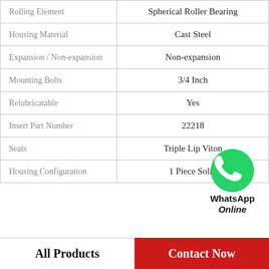| Property | Value |
| --- | --- |
| Rolling Element | Spherical Roller Bearing |
| Housing Material | Cast Steel |
| Expansion / Non-expansion | Non-expansion |
| Mounting Bolts | 3/4 Inch |
| Relubricatable | Yes |
| Insert Part Number | 22218 |
| Seals | Triple Lip Viton |
| Housing Configuration | 1 Piece Solid |
[Figure (logo): WhatsApp Online contact badge with green phone icon]
All Products   Contact Now